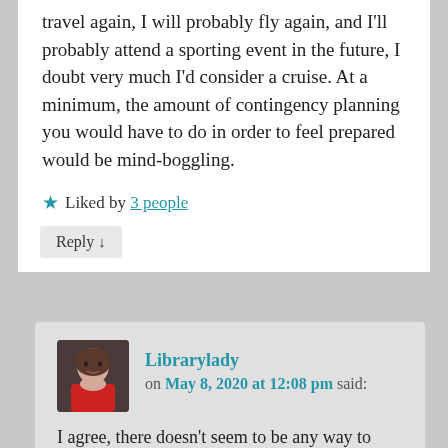travel again, I will probably fly again, and I'll probably attend a sporting event in the future, I doubt very much I'd consider a cruise. At a minimum, the amount of contingency planning you would have to do in order to feel prepared would be mind-boggling.
★ Liked by 3 people
Reply ↓
Librarylady on May 8, 2020 at 12:08 pm said:
I agree, there doesn't seem to be any way to stop the virus from spreading except social distancing, and that's not going to happen on a cruise. I'm done with cruising for now, but I'm not saying never – maybe there's a fix